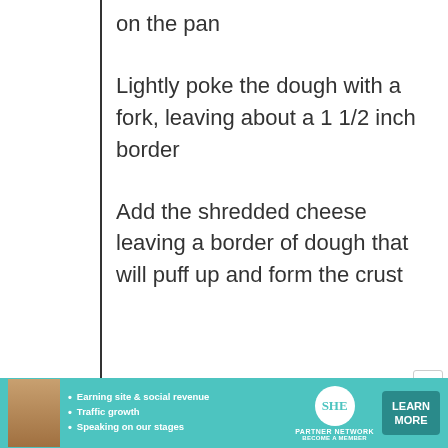on the pan
Lightly poke the dough with a fork, leaving about a 1 1/2 inch border
Add the shredded cheese leaving a border of dough that will puff up and form the crust
[Figure (infographic): Advertisement banner for SHE Media Partner Network featuring a woman, bullet points about earning site & social revenue, traffic growth, speaking on stages, the SHE logo, and a Learn More button]